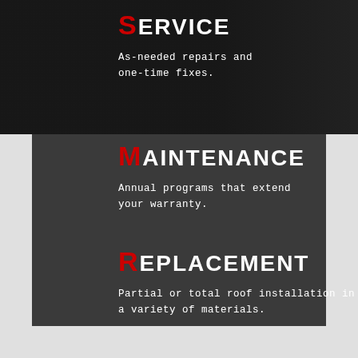SERVICE
As-needed repairs and one-time fixes.
MAINTENANCE
Annual programs that extend your warranty.
REPLACEMENT
Partial or total roof installation in a variety of materials.